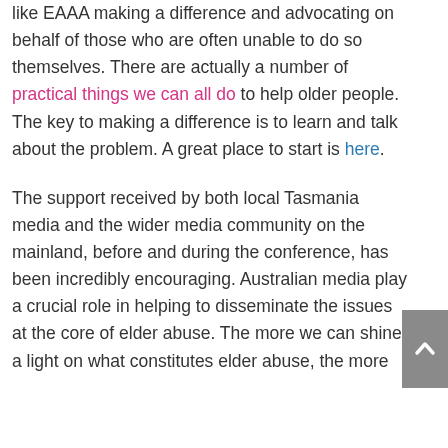like EAAA making a difference and advocating on behalf of those who are often unable to do so themselves. There are actually a number of practical things we can all do to help older people. The key to making a difference is to learn and talk about the problem. A great place to start is here.
The support received by both local Tasmania media and the wider media community on the mainland, before and during the conference, has been incredibly encouraging. Australian media play a crucial role in helping to disseminate the issues at the core of elder abuse. The more we can shine a light on what constitutes elder abuse, the more